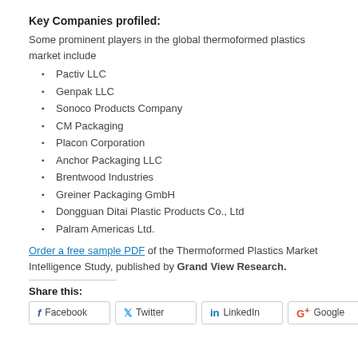Key Companies profiled:
Some prominent players in the global thermoformed plastics market include
Pactiv LLC
Genpak LLC
Sonoco Products Company
CM Packaging
Placon Corporation
Anchor Packaging LLC
Brentwood Industries
Greiner Packaging GmbH
Dongguan Ditai Plastic Products Co., Ltd
Palram Americas Ltd.
Order a free sample PDF of the Thermoformed Plastics Market Intelligence Study, published by Grand View Research.
Share this:
Facebook  Twitter  LinkedIn  Google